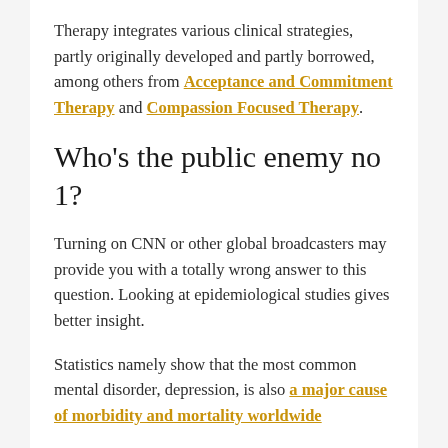Therapy integrates various clinical strategies, partly originally developed and partly borrowed, among others from Acceptance and Commitment Therapy and Compassion Focused Therapy.
Who's the public enemy no 1?
Turning on CNN or other global broadcasters may provide you with a totally wrong answer to this question. Looking at epidemiological studies gives better insight.
Statistics namely show that the most common mental disorder, depression, is also a major cause of morbidity and mortality worldwide.